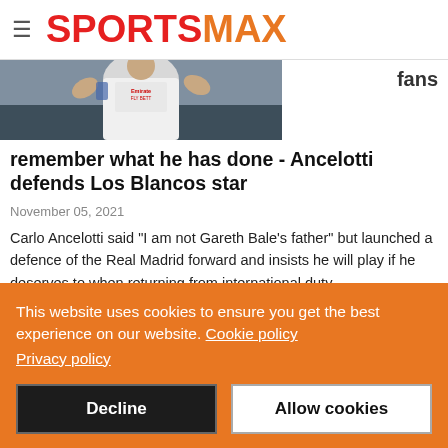SPORTSMAX
[Figure (photo): Gareth Bale in a white Real Madrid Emirates jersey, partially cropped. To the right, partial text 'fans'.]
remember what he has done - Ancelotti defends Los Blancos star
November 05, 2021
Carlo Ancelotti said "I am not Gareth Bale's father" but launched a defence of the Real Madrid forward and insists he will play if he deserves to when returning from international duty.
This website uses cookies to ensure you get the best experience on our website. Cookie policy
Privacy policy
Decline
Allow cookies